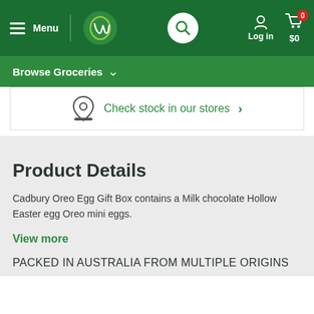Menu | Woolworths | Search | Log in | $0
Browse Groceries
Check stock in our stores
Product Details
Cadbury Oreo Egg Gift Box contains a Milk chocolate Hollow Easter egg Oreo mini eggs.
View more
PACKED IN AUSTRALIA FROM MULTIPLE ORIGINS